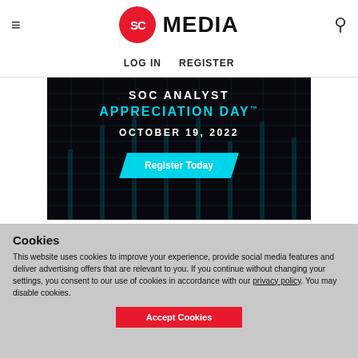SC MEDIA | LOG IN  REGISTER
[Figure (infographic): SOC Analyst Appreciation Day — October 19, 2022 — Register Today banner advertisement on dark background with cyan text and cyber grid lines]
Cookies
This website uses cookies to improve your experience, provide social media features and deliver advertising offers that are relevant to you. If you continue without changing your settings, you consent to our use of cookies in accordance with our privacy policy. You may disable cookies.
Accept Cookies